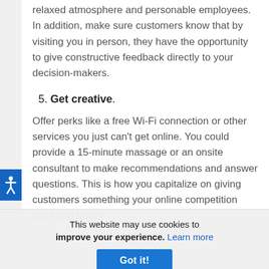relaxed atmosphere and personable employees. In addition, make sure customers know that by visiting you in person, they have the opportunity to give constructive feedback directly to your decision-makers.
5. Get creative.
Offer perks like a free Wi-Fi connection or other services you just can't get online. You could provide a 15-minute massage or an onsite consultant to make recommendations and answer questions. This is how you capitalize on giving customers something your online competition can't and build
This website may use cookies to improve your experience. Learn more Got it!